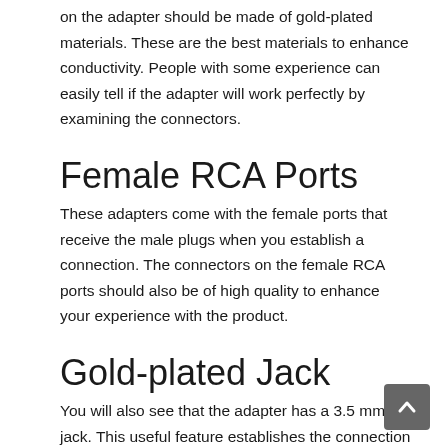on the adapter should be made of gold-plated materials. These are the best materials to enhance conductivity. People with some experience can easily tell if the adapter will work perfectly by examining the connectors.
Female RCA Ports
These adapters come with the female ports that receive the male plugs when you establish a connection. The connectors on the female RCA ports should also be of high quality to enhance your experience with the product.
Gold-plated Jack
You will also see that the adapter has a 3.5 mm jack. This useful feature establishes the connection between the stock radio and external audio electronic devices. The 3.5 mm jack is a universal standard all over the world. This is good ne because you can use these products anywhere you need to